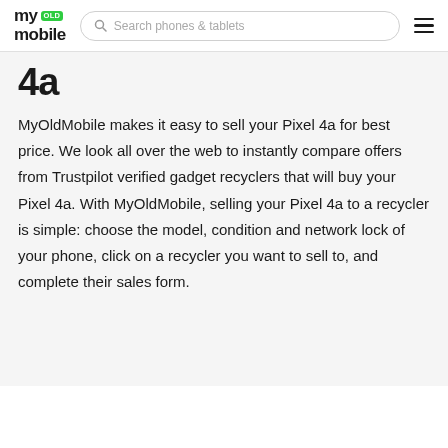my OLD mobile — Search phones & tablets
4a
MyOldMobile makes it easy to sell your Pixel 4a for best price. We look all over the web to instantly compare offers from Trustpilot verified gadget recyclers that will buy your Pixel 4a. With MyOldMobile, selling your Pixel 4a to a recycler is simple: choose the model, condition and network lock of your phone, click on a recycler you want to sell to, and complete their sales form.